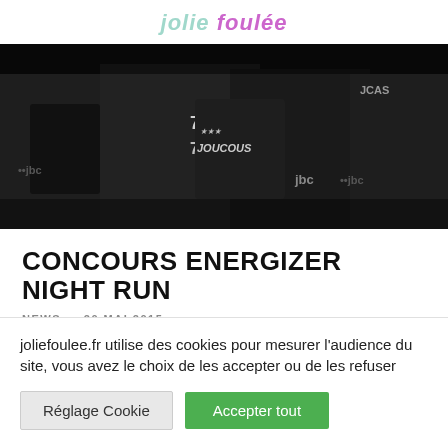JOLIE FOULÉE
[Figure (photo): Dark photo of runners wearing black jerseys with numbers 702 and jbc branding, taken at a night running event.]
CONCOURS ENERGIZER NIGHT RUN
NEWS · 20 MAI 2015
joliefoulee.fr utilise des cookies pour mesurer l'audience du site, vous avez le choix de les accepter ou de les refuser
Réglage Cookie | Accepter tout